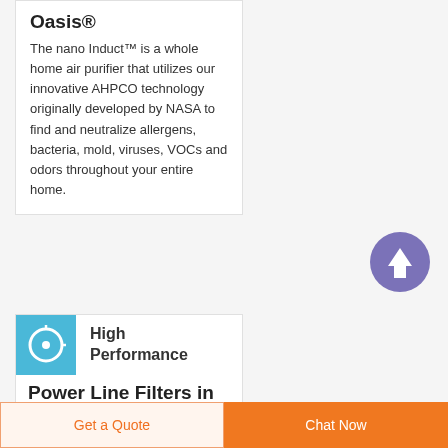Oasis®
The nano Induct™ is a whole home air purifier that utilizes our innovative AHPCO technology originally developed by NASA to find and neutralize allergens, bacteria, mold, viruses, VOCs and odors throughout your entire home.
[Figure (illustration): Purple circle button with white upward arrow (scroll to top button)]
[Figure (photo): Small blue square thumbnail image showing white circular object on blue background]
High Performance Power Line Filters in EMI Filters TE
Get a Quote | Chat Now